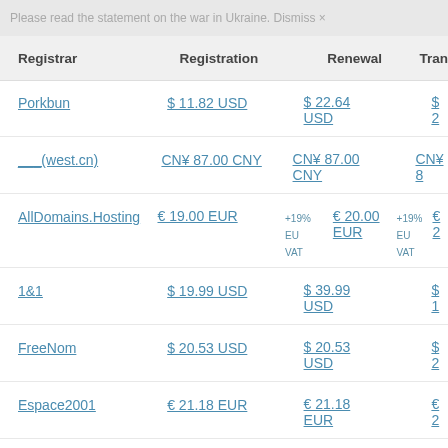Please read the statement on the war in Ukraine. Dismiss ×
| Registrar | Registration | Renewal | Tran... |
| --- | --- | --- | --- |
| Porkbun | $ 11.82 USD | $ 22.64 USD | $ 2... |
| ___(west.cn) | CN¥ 87.00 CNY | CN¥ 87.00 CNY | CN¥ 8... |
| AllDomains.Hosting | € 19.00 EUR +19% EU VAT | € 20.00 EUR +19% EU VAT | € 2... |
| 1&1 | $ 19.99 USD | $ 39.99 USD | $ 1... |
| FreeNom | $ 20.53 USD | $ 20.53 USD | $ 2... |
| Espace2001 | € 21.18 EUR | € 21.18 EUR | € 2... |
| NameFile | $ 22.00 USD | $ 22.00 |  |